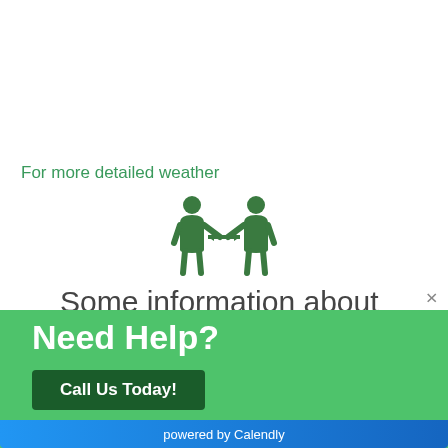For more detailed weather
[Figure (illustration): Two green human figures facing each other with a double-headed arrow between them, representing social distancing or information exchange icon]
Some information about Fort
Need Help?
Call Us Today!
powered by Calendly
Never see this message again.